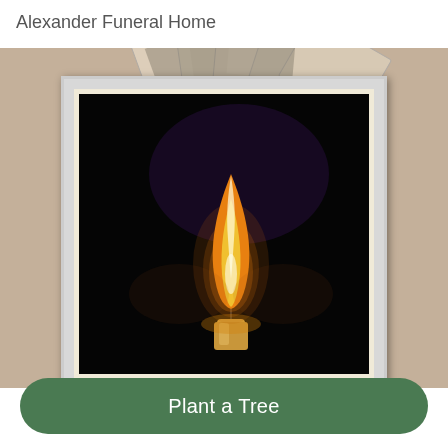Alexander Funeral Home
[Figure (photo): A lit candle flame against a very dark/black background, displayed inside a white picture frame with cream matting, overlaid on a sepia-toned background showing fanned photographs.]
Plant a Tree